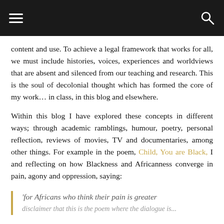Navigation bar with hamburger menu and search icon
content and use. To achieve a legal framework that works for all, we must include histories, voices, experiences and worldviews that are absent and silenced from our teaching and research. This is the soul of decolonial thought which has formed the core of my work… in class, in this blog and elsewhere.
Within this blog I have explored these concepts in different ways; through academic ramblings, humour, poetry, personal reflection, reviews of movies, TV and documentaries, among other things. For example in the poem, Child, You are Black, I and reflecting on how Blackness and Africanness converge in pain, agony and oppression, saying:
'for Africans who think their pain is greater